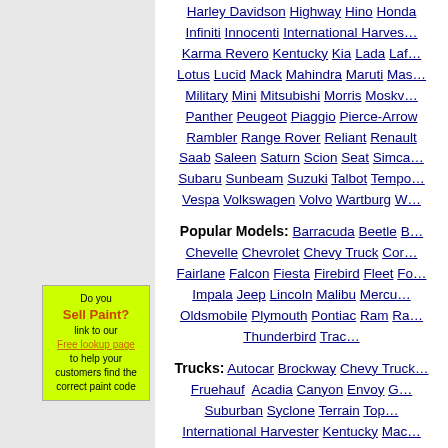Harley Davidson Highway Hino Honda Infiniti Innocenti International Harvester Karma Revero Kentucky Kia Lada Lafayette Lotus Lucid Mack Mahindra Maruti Masetti Military Mini Mitsubishi Morris Moskva Panther Peugeot Piaggio Pierce-Arrow Rambler Range Rover Reliant Renault Saab Saleen Saturn Scion Seat Simca Subaru Sunbeam Suzuki Talbot Tempo Vespa Volkswagen Volvo Wartburg W...
Popular Models: Barracuda Beetle B... Chevelle Chevrolet Chevy Truck Cor... Fairlane Falcon Fiesta Firebird Fleet Fo... Impala Jeep Lincoln Malibu Mercu... Oldsmobile Plymouth Pontiac Ram Ra... Thunderbird Trac...
Trucks: Autocar Brockway Chevy Truck Fruehauf Acadia Canyon Envoy G... Suburban Syclone Terrain Top... International Harvester Kentucky Mac...
Fleet/Equipment: Allegro Allis Chalm... Caterpillar Clark Clayson Cletra Coach...
[Figure (infographic): Yellow-green ad box: Do you Sell Paint? link to our Free lookup page to help your customers find the correct paint code]